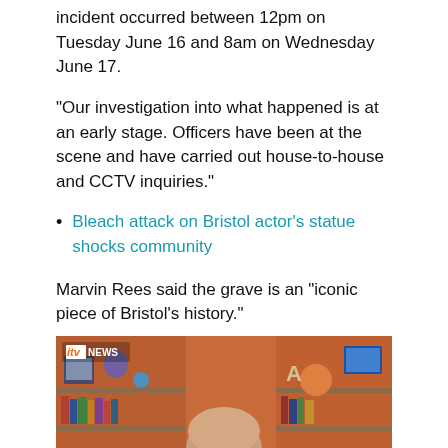incident occurred between 12pm on Tuesday June 16 and 8am on Wednesday June 17.
"Our investigation into what happened is at an early stage. Officers have been at the scene and have carried out house-to-house and CCTV inquiries."
Bleach attack on Bristol actor's statue shocks community
Marvin Rees said the grave is an "iconic piece of Bristol's history."
He also called for an end to racially-motivated attacks, saying, "We don't want to go down this tit-for-tat invisible attacks on each other".
[Figure (screenshot): ITV News video screenshot showing a person in front of bookshelves with an orange/red wall in the background. Various items including framed photos, balloons, and books are visible on the shelves.]